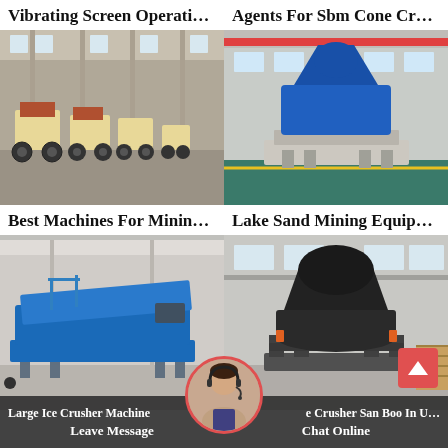Vibrating Screen Operation …
Agents For Sbm Cone Crus…
[Figure (photo): Industrial jaw crushers lined up in a factory floor]
[Figure (photo): Large blue cone crusher sitting on a platform in a factory]
Best Machines For Mining …
Lake Sand Mining Equipme…
[Figure (photo): Blue mobile vibrating screen/feeder machine in a factory]
[Figure (photo): Large black cone crusher in a factory warehouse]
Large Ice Crusher Machine
e Crusher San Boo In U…
Leave Message
Chat Online